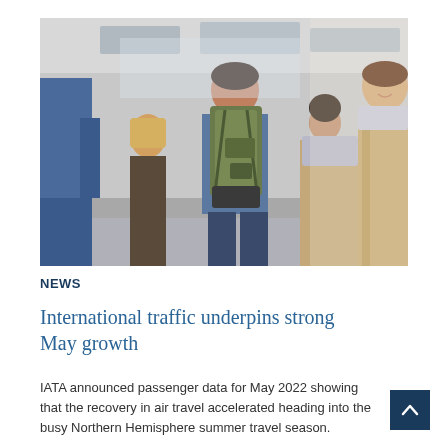[Figure (photo): Airport scene with travelers walking, seen from behind. Central figure is a man with a large backpack in a denim jacket. To the left is a person in a blue puffer jacket and a woman with blonde hair. To the right is a woman in a beige coat with a scarf, smiling. Bright interior airport setting.]
NEWS
International traffic underpins strong May growth
IATA announced passenger data for May 2022 showing that the recovery in air travel accelerated heading into the busy Northern Hemisphere summer travel season.